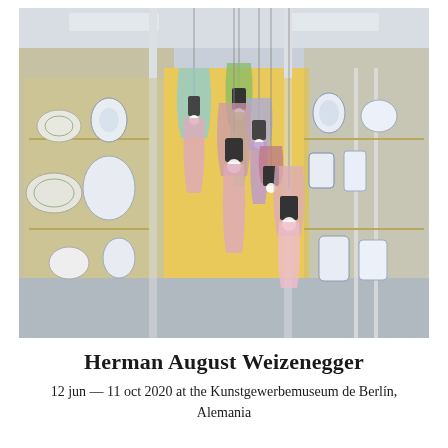[Figure (photo): Exhibition photo showing colorful hanging pendant lamps (tulip/cone shaped in pink, purple, green, cyan colors) suspended from ceiling in a museum gallery space. Background shows display cases with blue-and-white ceramic plates and vases. A large yellow rectangular panel is visible in the center background.]
Herman August Weizenegger
12 jun — 11 oct 2020 at the Kunstgewerbemuseum de Berlín, Alemania